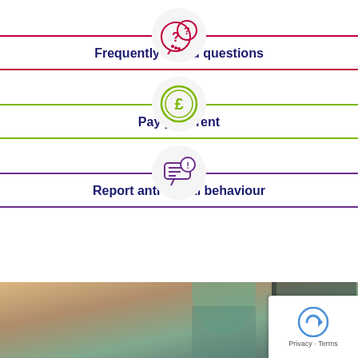[Figure (infographic): FAQ card with crimson question mark speech bubble icon, red horizontal border lines, and bold text 'Frequently asked questions']
[Figure (infographic): Pay rent card with green pound coin icon, green horizontal border lines, and bold text 'Pay your rent']
[Figure (infographic): Report ASB card with purple speech bubble alert icon, purple horizontal border lines, and bold text 'Report anti-social behaviour']
[Figure (photo): Photo of a person at a door, partially visible, blurred background with warm autumn tones]